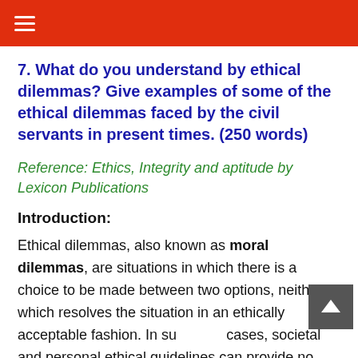≡
7. What do you understand by ethical dilemmas? Give examples of some of the ethical dilemmas faced by the civil servants in present times. (250 words)
Reference: Ethics, Integrity and aptitude by Lexicon Publications
Introduction:
Ethical dilemmas, also known as moral dilemmas, are situations in which there is a choice to be made between two options, neither of which resolves the situation in an ethically acceptable fashion. In such cases, societal and personal ethical guidelines can provide no satisfactory outcome for the chooser.